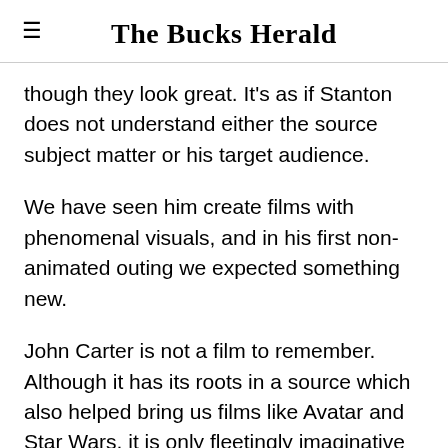The Bucks Herald
though they look great. It's as if Stanton does not understand either the source subject matter or his target audience.
We have seen him create films with phenomenal visuals, and in his first non-animated outing we expected something new.
John Carter is not a film to remember. Although it has its roots in a source which also helped bring us films like Avatar and Star Wars, it is only fleetingly imaginative and there's nothing